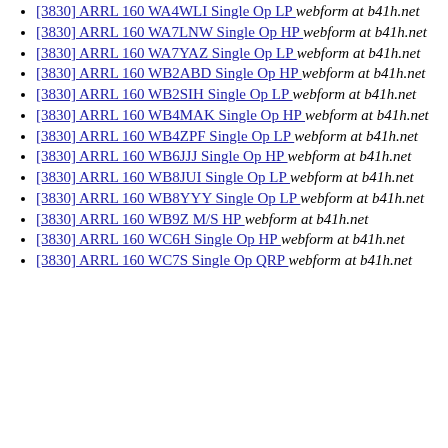[3830] ARRL 160 WA4WLI Single Op LP  webform at b41h.net
[3830] ARRL 160 WA7LNW Single Op HP  webform at b41h.net
[3830] ARRL 160 WA7YAZ Single Op LP  webform at b41h.net
[3830] ARRL 160 WB2ABD Single Op HP  webform at b41h.net
[3830] ARRL 160 WB2SIH Single Op LP  webform at b41h.net
[3830] ARRL 160 WB4MAK Single Op HP  webform at b41h.net
[3830] ARRL 160 WB4ZPF Single Op LP  webform at b41h.net
[3830] ARRL 160 WB6JJJ Single Op HP  webform at b41h.net
[3830] ARRL 160 WB8JUI Single Op LP  webform at b41h.net
[3830] ARRL 160 WB8YYY Single Op LP  webform at b41h.net
[3830] ARRL 160 WB9Z M/S HP  webform at b41h.net
[3830] ARRL 160 WC6H Single Op HP  webform at b41h.net
[3830] ARRL 160 WC7S Single Op QRP  webform at b41h.net